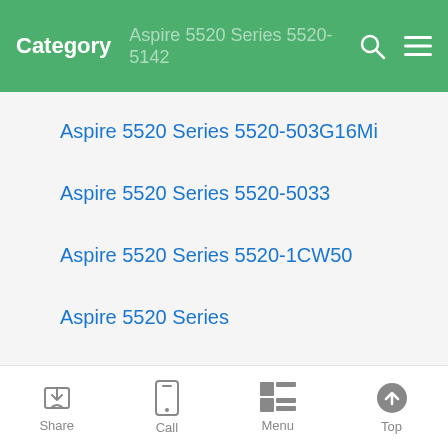Category | Aspire 5520 Series 5520-5142
Aspire 5520 Series 5520-503G16Mi
Aspire 5520 Series 5520-5033
Aspire 5520 Series 5520-1CW50
Aspire 5520 Series
Aspire 5515 Series 5515-5879
Aspire 5515 Series 5515-5831
Share | Call | Menu | Top